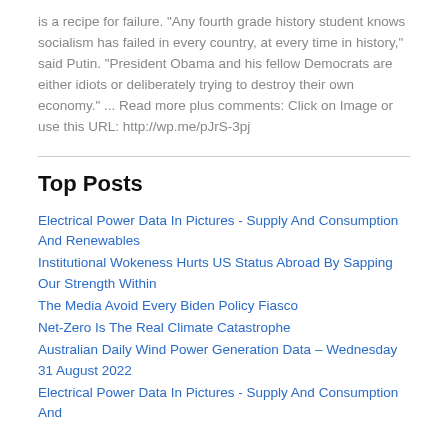is a recipe for failure. "Any fourth grade history student knows socialism has failed in every country, at every time in history," said Putin. "President Obama and his fellow Democrats are either idiots or deliberately trying to destroy their own economy." ... Read more plus comments: Click on Image or use this URL: http://wp.me/pJrS-3pj
Top Posts
Electrical Power Data In Pictures - Supply And Consumption And Renewables
Institutional Wokeness Hurts US Status Abroad By Sapping Our Strength Within
The Media Avoid Every Biden Policy Fiasco
Net-Zero Is The Real Climate Catastrophe
Australian Daily Wind Power Generation Data – Wednesday 31 August 2022
Electrical Power Data In Pictures - Supply And Consumption And